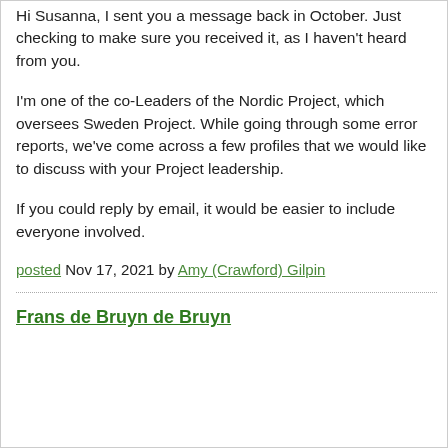Hi Susanna, I sent you a message back in October. Just checking to make sure you received it, as I haven't heard from you.
I'm one of the co-Leaders of the Nordic Project, which oversees Sweden Project. While going through some error reports, we've come across a few profiles that we would like to discuss with your Project leadership.
If you could reply by email, it would be easier to include everyone involved.
posted Nov 17, 2021 by Amy (Crawford) Gilpin
Frans de Bruyn de Bruyn